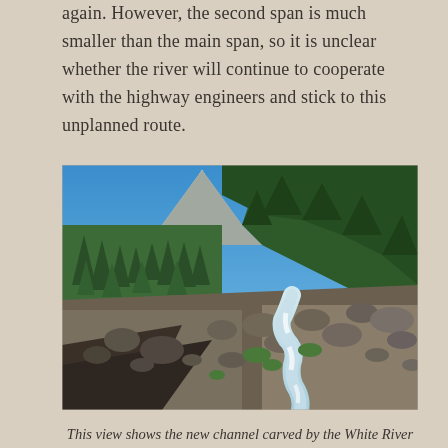again. However, the second span is much smaller than the main span, so it is unclear whether the river will continue to cooperate with the highway engineers and stick to this unplanned route.
[Figure (photo): Photograph of a rocky riverbed with a narrow stream of white water flowing through it, surrounded by large boulders and gravel. Dense evergreen forest covers the hillsides in the background, and a snow-capped mountain peak is visible in the upper center under a clear blue sky.]
This view shows the new channel carved by the White River